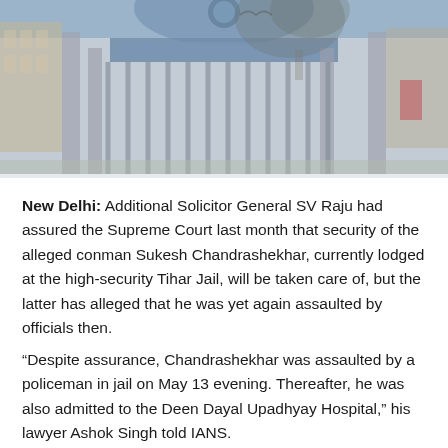[Figure (photo): Photograph of a high-security gate entrance, likely Tihar Jail, with blue signage arch, iron bars, and trees, rendered in muted grey-blue tones.]
New Delhi: Additional Solicitor General SV Raju had assured the Supreme Court last month that security of the alleged conman Sukesh Chandrashekhar, currently lodged at the high-security Tihar Jail, will be taken care of, but the latter has alleged that he was yet again assaulted by officials then.
“Despite assurance, Chandrashekhar was assaulted by a policeman in jail on May 13 evening. Thereafter, he was also admitted to the Deen Dayal Upadhyay Hospital,” his lawyer Ashok Singh told IANS.